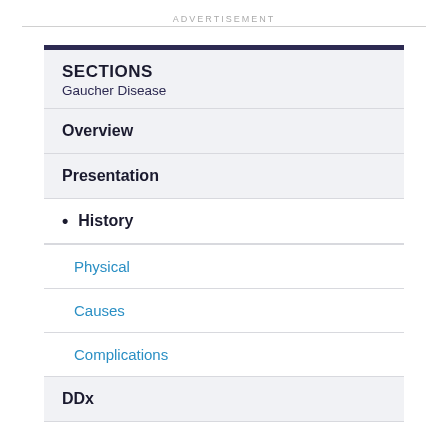ADVERTISEMENT
SECTIONS
Gaucher Disease
Overview
Presentation
• History
Physical
Causes
Complications
DDx